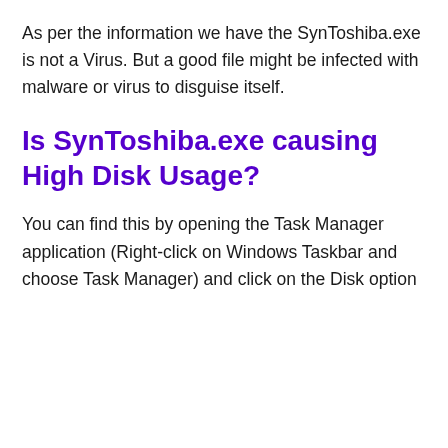As per the information we have the SynToshiba.exe is not a Virus. But a good file might be infected with malware or virus to disguise itself.
Is SynToshiba.exe causing High Disk Usage?
You can find this by opening the Task Manager application (Right-click on Windows Taskbar and choose Task Manager) and click on the Disk option